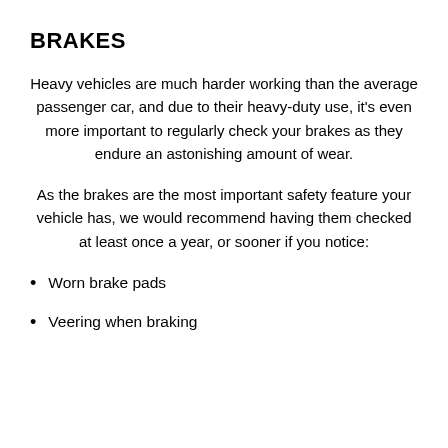BRAKES
Heavy vehicles are much harder working than the average passenger car, and due to their heavy-duty use, it’s even more important to regularly check your brakes as they endure an astonishing amount of wear.
As the brakes are the most important safety feature your vehicle has, we would recommend having them checked at least once a year, or sooner if you notice:
Worn brake pads
Veering when braking